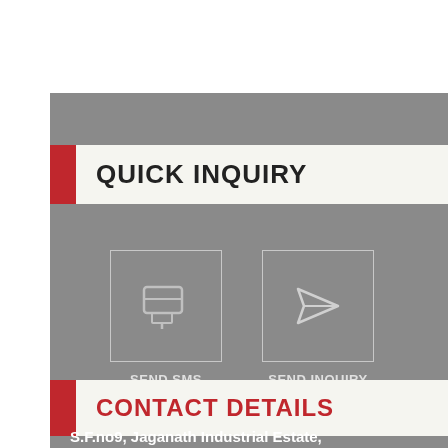QUICK INQUIRY
[Figure (infographic): SEND SMS button icon — speech bubble / message icon in light gray]
SEND SMS
[Figure (infographic): SEND INQUIRY button icon — paper airplane icon in light gray]
SEND INQUIRY
CONTACT DETAILS
S.F.no9, Jaganath Industrial Estate,